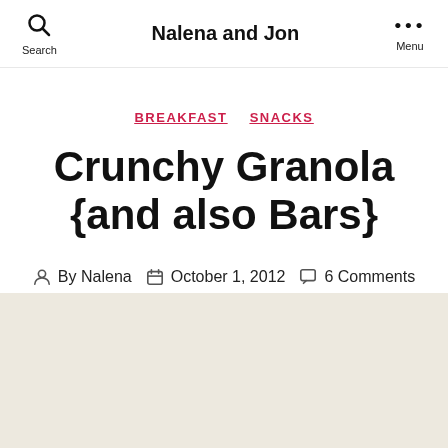Nalena and Jon
BREAKFAST  SNACKS
Crunchy Granola {and also Bars}
By Nalena  October 1, 2012  6 Comments